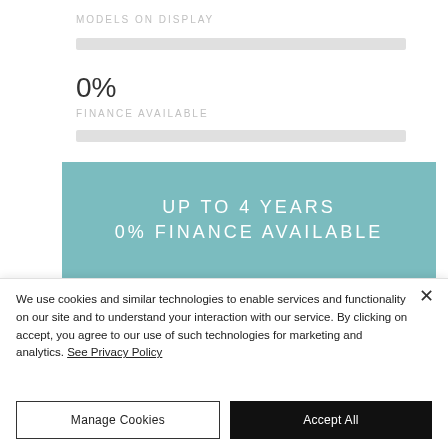MODELS ON DISPLAY
0%
FINANCE AVAILABLE
[Figure (other): Teal banner with text: UP TO 4 YEARS 0% FINANCE AVAILABLE]
We use cookies and similar technologies to enable services and functionality on our site and to understand your interaction with our service. By clicking on accept, you agree to our use of such technologies for marketing and analytics. See Privacy Policy
Manage Cookies
Accept All